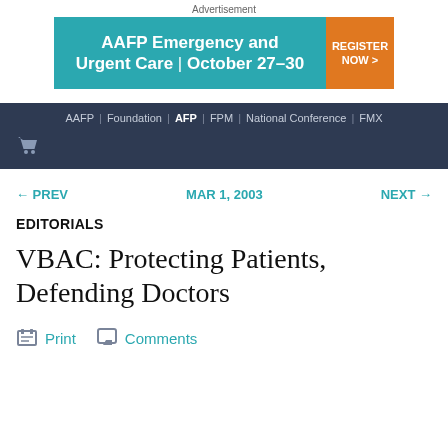Advertisement
[Figure (other): AAFP Emergency and Urgent Care | October 27–30 advertisement banner with teal background and orange REGISTER NOW button]
AAFP | Foundation | AFP | FPM | National Conference | FMX
← PREV   MAR 1, 2003   NEXT →
EDITORIALS
VBAC: Protecting Patients, Defending Doctors
Print   Comments